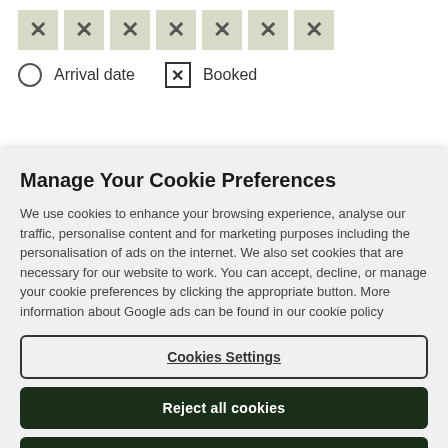[Figure (screenshot): Row of seven X (close) buttons with beige/tan background]
Arrival date   Booked
Manage Your Cookie Preferences
We use cookies to enhance your browsing experience, analyse our traffic, personalise content and for marketing purposes including the personalisation of ads on the internet. We also set cookies that are necessary for our website to work. You can accept, decline, or manage your cookie preferences by clicking the appropriate button. More information about Google ads can be found in our cookie policy
Cookies Settings
Reject all cookies
Accept all cookies